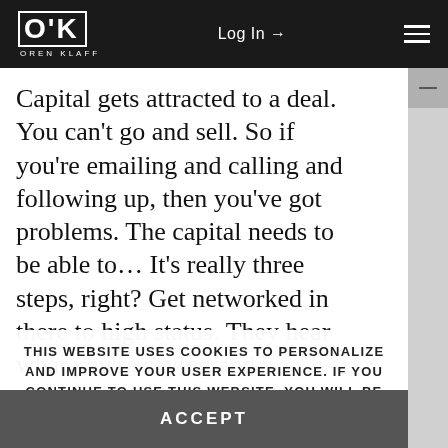OK OREN KLAFF | Log In → | ☰
Capital gets attracted to a deal. You can't go and sell. So if you're emailing and calling and following up, then you've got problems. The capital needs to be able to... It's really three steps, right? Get networked in there to high status. They hear what you're saying and
THIS WEBSITE USES COOKIES TO PERSONALIZE AND IMPROVE YOUR USER EXPERIENCE. IF YOU CONTINUE TO USE THIS WEBSITE, YOU WILL BE PROVIDING CONSENT TO OUR USE OF COOKIES.
ACCEPT